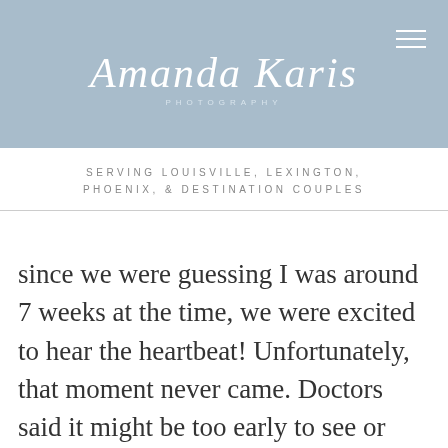[Figure (logo): Amanda Karis Photography script logo on dusty blue header bar with hamburger menu icon]
SERVING LOUISVILLE, LEXINGTON, PHOENIX, & DESTINATION COUPLES
since we were guessing I was around 7 weeks at the time, we were excited to hear the heartbeat! Unfortunately, that moment never came. Doctors said it might be too early to see or hear anything, so we scheduled another ultrasound for two weeks later before confirming a miscarriage. That was truly the longest two weeks of my life. Waiting to see if my dreams were coming true or if I was being